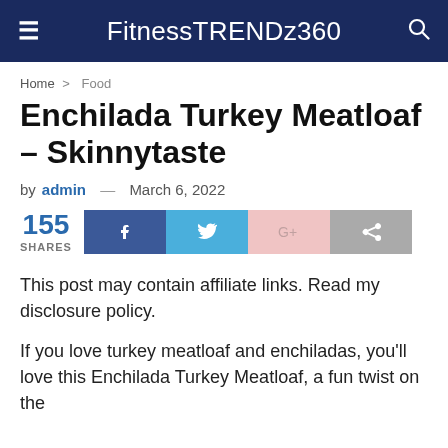FitnessTRENDz360
Home > Food
Enchilada Turkey Meatloaf – Skinnytaste
by admin — March 6, 2022
[Figure (infographic): Social share bar showing 155 shares with Facebook, Twitter, Google+, and share buttons]
This post may contain affiliate links. Read my disclosure policy.
If you love turkey meatloaf and enchiladas, you'll love this Enchilada Turkey Meatloaf, a fun twist on the